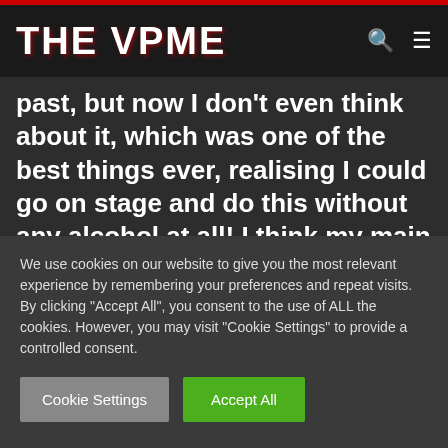THE VPME
REEL I V ... had a little drink in the past, but now I don't even think about it, which was one of the best things ever, realising I could go on stage and do this without any alcohol at all! I think my main ritual now is I like to get a feel for the room, maybe get in the audience for the support, take in the
We use cookies on our website to give you the most relevant experience by remembering your preferences and repeat visits. By clicking "Accept All", you consent to the use of ALL the cookies. However, you may visit "Cookie Settings" to provide a controlled consent.
Cookie Settings | Accept All